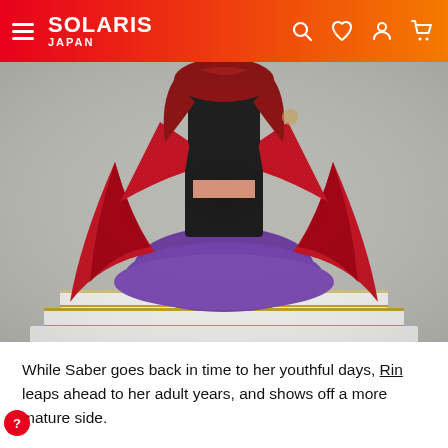SOLARIS JAPAN
[Figure (photo): Close-up photo of a collectible figure of Rin Tohsaka in a dramatic red and purple layered dress with black thigh-high stockings, standing on a tiered white and gold display base. The figure has long dark red hair visible at the top. The background is a neutral gray.]
While Saber goes back in time to her youthful days, Rin leaps ahead to her adult years, and shows off a more mature side.